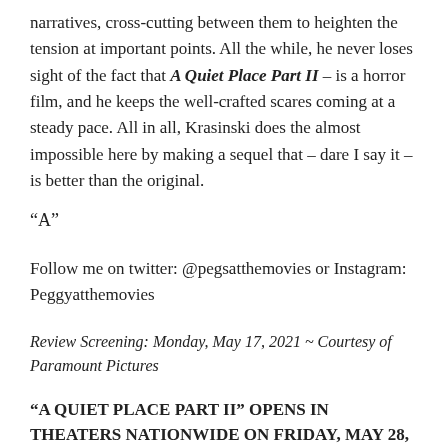narratives, cross-cutting between them to heighten the tension at important points. All the while, he never loses sight of the fact that A Quiet Place Part II – is a horror film, and he keeps the well-crafted scares coming at a steady pace. All in all, Krasinski does the almost impossible here by making a sequel that – dare I say it – is better than the original.
“A”
Follow me on twitter: @pegsatthemovies or Instagram: Peggyatthemovies
Review Screening: Monday, May 17, 2021 ~ Courtesy of Paramount Pictures
“A QUIET PLACE PART II” OPENS IN THEATERS NATIONWIDE ON FRIDAY, MAY 28, 2021